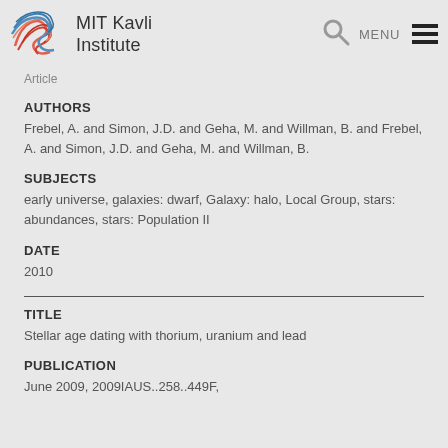MIT Kavli Institute
Article
AUTHORS
Frebel, A. and Simon, J.D. and Geha, M. and Willman, B. and Frebel, A. and Simon, J.D. and Geha, M. and Willman, B.
SUBJECTS
early universe, galaxies: dwarf, Galaxy: halo, Local Group, stars: abundances, stars: Population II
DATE
2010
TITLE
Stellar age dating with thorium, uranium and lead
PUBLICATION
June 2009, 2009IAUS..258..449F,